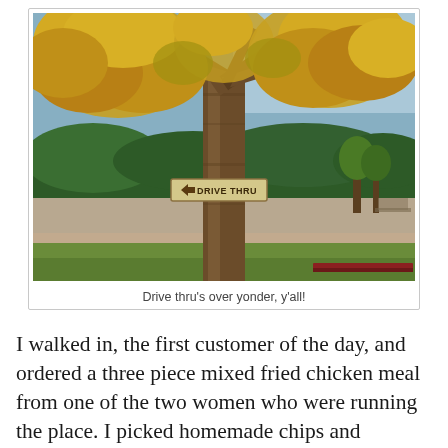[Figure (photo): Outdoor autumn scene with a large tree with golden/yellow leaves in the center. A 'DRIVE THRU' sign with a left-pointing arrow is attached to the tree trunk. The background shows green hedges, blue sky, and a parking area.]
Drive thru's over yonder, y'all!
I walked in, the first customer of the day, and ordered a three piece mixed fried chicken meal from one of the two women who were running the place. I picked homemade chips and coleslaw as my sides. As I sat down and awaited my order, I